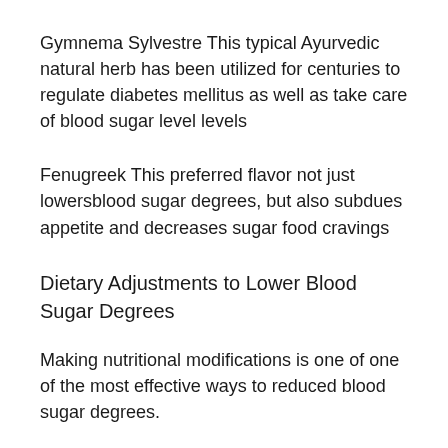Gymnema Sylvestre This typical Ayurvedic natural herb has been utilized for centuries to regulate diabetes mellitus as well as take care of blood sugar level levels
Fenugreek This preferred flavor not just lowersblood sugar degrees, but also subdues appetite and decreases sugar food cravings
Dietary Adjustments to Lower Blood Sugar Degrees
Making nutritional modifications is one of one of the most effective ways to reduced blood sugar degrees.